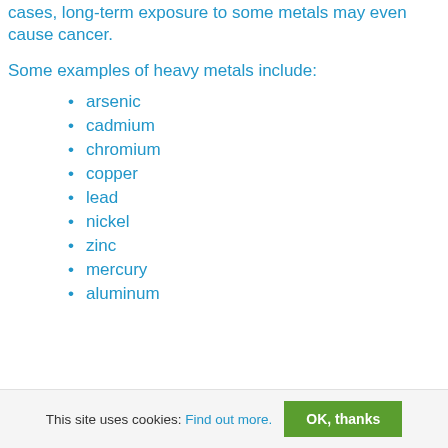cases, long-term exposure to some metals may even cause cancer.
Some examples of heavy metals include:
arsenic
cadmium
chromium
copper
lead
nickel
zinc
mercury
aluminum
This site uses cookies: Find out more. OK, thanks